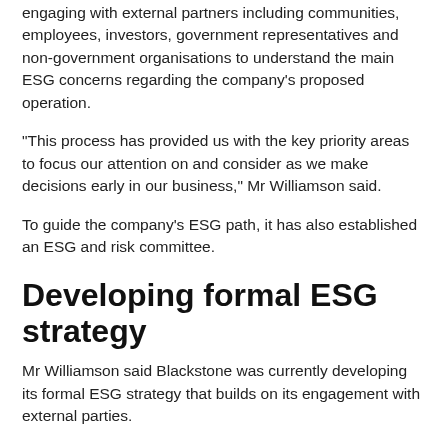engaging with external partners including communities, employees, investors, government representatives and non-government organisations to understand the main ESG concerns regarding the company's proposed operation.
“This process has provided us with the key priority areas to focus our attention on and consider as we make decisions early in our business,” Mr Williamson said.
To guide the company’s ESG path, it has also established an ESG and risk committee.
Developing formal ESG strategy
Mr Williamson said Blackstone was currently developing its formal ESG strategy that builds on its engagement with external parties.